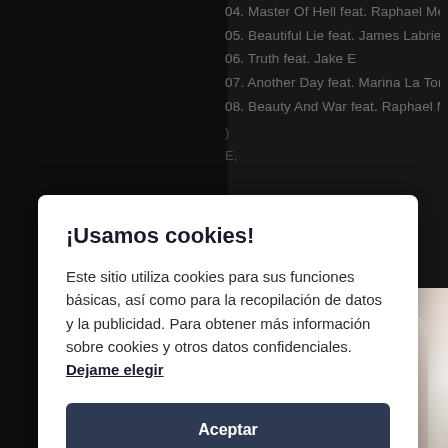[Figure (screenshot): Website screenshot showing a dark background with a song tracklist on the right side and a guitar player photo in the bottom right. A cookie consent modal dialog overlays the content.]
04. Master Of Hell feat. Raphael Mendes
05. Beautiful Lie feat. James Labrie
06. Truth feat. Jake E
07. Another Day feat. Marina La Torraca
08. Beauty And War feat. Raphael Mendes
¡Usamos cookies!
Este sitio utiliza cookies para sus funciones básicas, así como para la recopilación de datos y la publicidad. Para obtener más información sobre cookies y otros datos confidenciales. Dejame elegir
Aceptar
Close